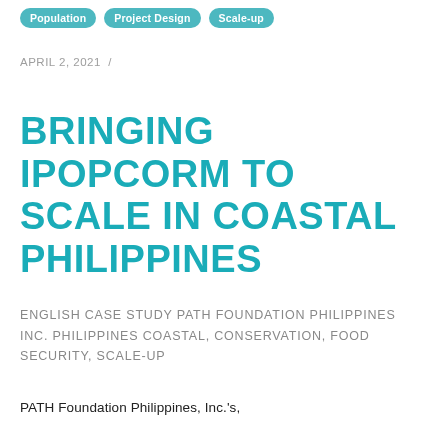Population | Project Design | Scale-up
APRIL 2, 2021 /
BRINGING IPOPCORM TO SCALE IN COASTAL PHILIPPINES
ENGLISH CASE STUDY PATH FOUNDATION PHILIPPINES INC. PHILIPPINES COASTAL, CONSERVATION, FOOD SECURITY, SCALE-UP
PATH Foundation Philippines, Inc.'s,